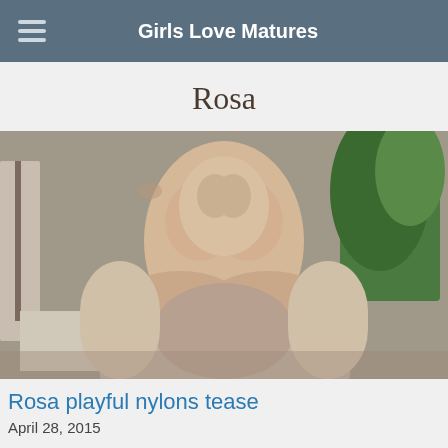Girls Love Matures
Rosa
[Figure (photo): Thumbnail photo of Rosa]
Rosa playful nylons tease
April 28, 2015